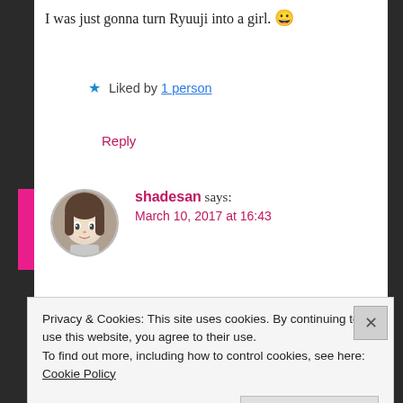I was just gonna turn Ryuuji into a girl. 😀
★ Liked by 1 person
Reply
shadesan says: March 10, 2017 at 16:43
Wah! I hadn't thought of that! I wonder what he would look like as a
Privacy & Cookies: This site uses cookies. By continuing to use this website, you agree to their use. To find out more, including how to control cookies, see here: Cookie Policy
Close and accept